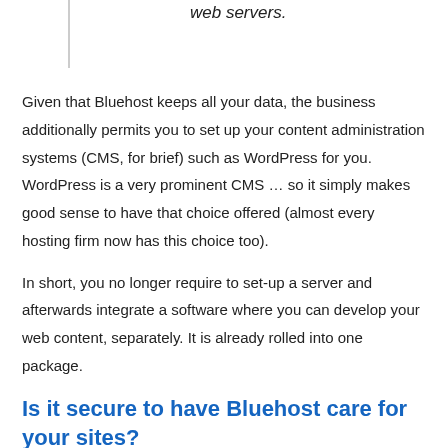web servers.
Given that Bluehost keeps all your data, the business additionally permits you to set up your content administration systems (CMS, for brief) such as WordPress for you. WordPress is a very prominent CMS … so it simply makes good sense to have that choice offered (almost every hosting firm now has this choice too).
In short, you no longer require to set-up a server and afterwards integrate a software where you can develop your web content, separately. It is already rolled into one package.
Is it secure to have Bluehost care for your sites?
Well … imagine if your server remains in your house. If anything